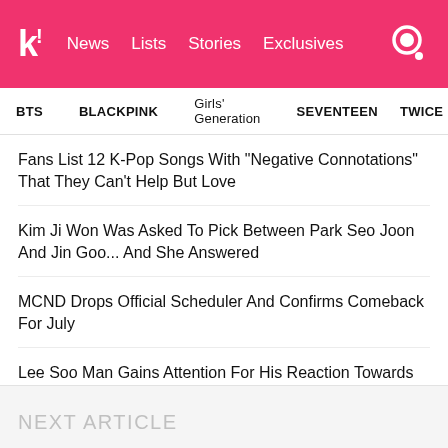k! News Lists Stories Exclusives
BTS   BLACKPINK   Girls' Generation   SEVENTEEN   TWICE
Fans List 12 K-Pop Songs With "Negative Connotations" That They Can't Help But Love
Kim Ji Won Was Asked To Pick Between Park Seo Joon And Jin Goo... And She Answered
MCND Drops Official Scheduler And Confirms Comeback For July
Lee Soo Man Gains Attention For His Reaction Towards Girls' Generation After Their SMTOWN LIVE 2022 Performance
NCT's Chenle Shuts Down Accusations Of Lip-Syncing In The Classiest Way
NEXT ARTICLE